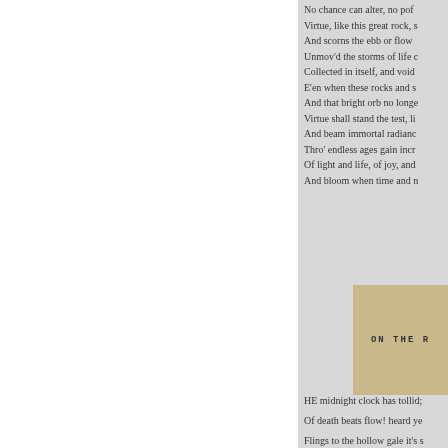No chance can alter, no pof
Virtue, like this great rock, s
And scorns the ebb or flow
Unmov'd the storms of life c
Collected in itself, and void
E'en when these rocks and s
And that bright orb no longe
Virtue shall stand the test, li
And beam immortal radianc
Thro' endless ages gain incr
Of light and life, of joy, and
And bloom when time and n
[Figure (photo): Partial view of a book cover with text 'ON THE' visible]
HE midnight clock has tollid;

Of death beats flow! heard ye

Flings to the hollow gale it's s